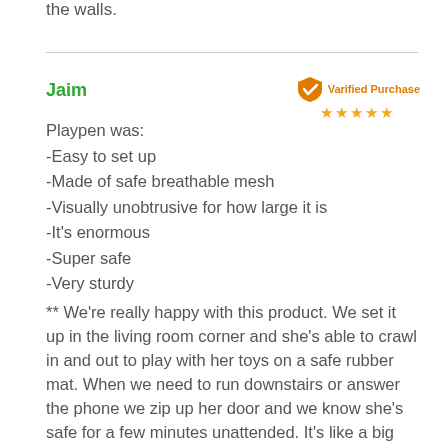the walls.
Jaim
[Figure (other): Verified Purchase badge with orange shield and checkmark, with 5 gold stars]
Playpen was:
-Easy to set up
-Made of safe breathable mesh
-Visually unobtrusive for how large it is
-It's enormous
-Super safe
-Very sturdy
** We're really happy with this product. We set it up in the living room corner and she's able to crawl in and out to play with her toys on a safe rubber mat. When we need to run downstairs or answer the phone we zip up her door and we know she's safe for a few minutes unattended. It's like a big Pack & Play that we keep mostly open. It